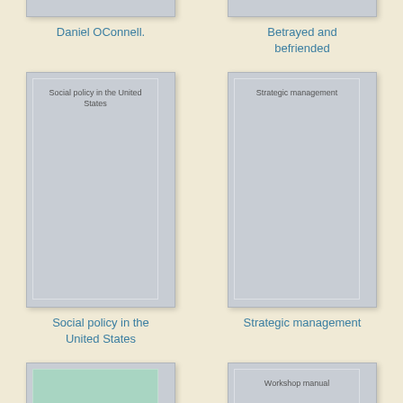[Figure (illustration): Book cover placeholder for Daniel OConnell - gray cover, top portion visible]
Daniel OConnell.
[Figure (illustration): Book cover placeholder for Betrayed and befriended - gray cover, top portion visible]
Betrayed and befriended
[Figure (illustration): Book cover placeholder for Social policy in the United States - gray cover, full cover with title text]
Social policy in the United States
[Figure (illustration): Book cover placeholder for Strategic management - gray cover, full cover with title text]
Strategic management
[Figure (illustration): Book cover - green/teal cover, partially visible at bottom]
[Figure (illustration): Book cover - gray cover with Workshop manual text, partially visible at bottom]